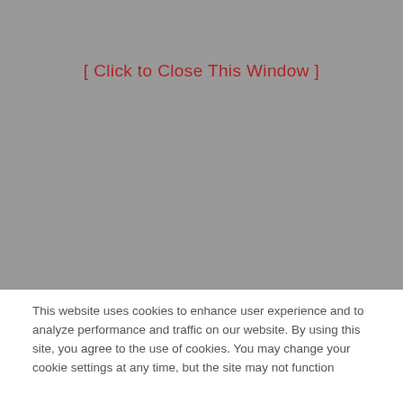[ Click to Close This Window ]
This website uses cookies to enhance user experience and to analyze performance and traffic on our website. By using this site, you agree to the use of cookies. You may change your cookie settings at any time, but the site may not function